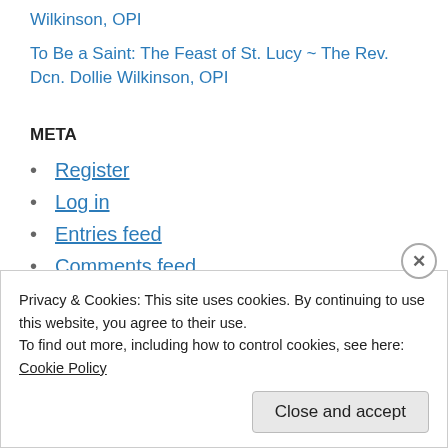Wilkinson, OPI
To Be a Saint: The Feast of St. Lucy ~ The Rev. Dcn. Dollie Wilkinson, OPI
META
Register
Log in
Entries feed
Comments feed
WordPress.com
Advertisements
Privacy & Cookies: This site uses cookies. By continuing to use this website, you agree to their use.
To find out more, including how to control cookies, see here: Cookie Policy
Close and accept